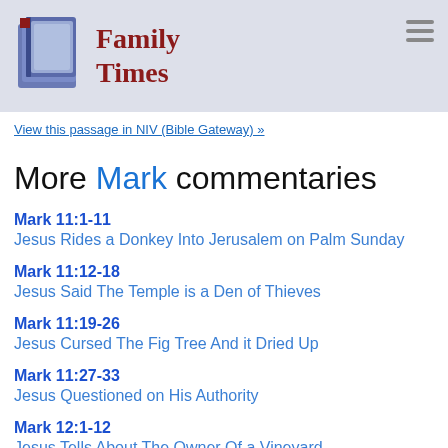Family Times
View this passage in NIV (Bible Gateway) »
More Mark commentaries
Mark 11:1-11 — Jesus Rides a Donkey Into Jerusalem on Palm Sunday
Mark 11:12-18 — Jesus Said The Temple is a Den of Thieves
Mark 11:19-26 — Jesus Cursed The Fig Tree And it Dried Up
Mark 11:27-33 — Jesus Questioned on His Authority
Mark 12:1-12 — Jesus Tells About The Owner Of a Vineyard